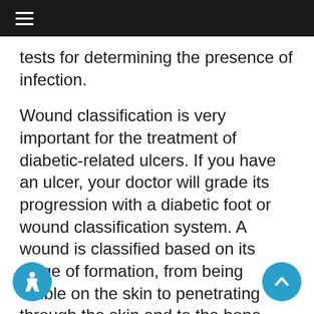≡
tests for determining the presence of infection.
Wound classification is very important for the treatment of diabetic-related ulcers. If you have an ulcer, your doctor will grade its progression with a diabetic foot or wound classification system. A wound is classified based on its stage of formation, from being visible on the skin to penetrating through the skin and to the bone. Additionally, your doctor may order sensitivity testing and wound cultures to identify or rule out